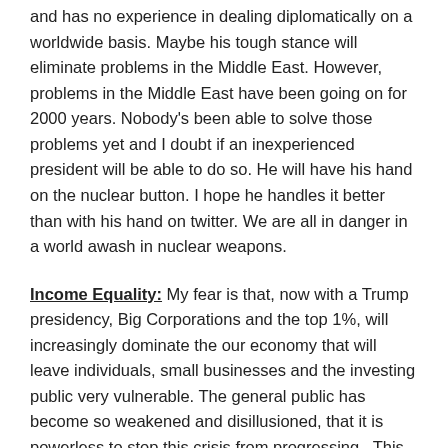and has no experience in dealing diplomatically on a worldwide basis. Maybe his tough stance will eliminate problems in the Middle East. However, problems in the Middle East have been going on for 2000 years. Nobody's been able to solve those problems yet and I doubt if an inexperienced president will be able to do so. He will have his hand on the nuclear button. I hope he handles it better than with his hand on twitter. We are all in danger in a world awash in nuclear weapons.
Income Equality: My fear is that, now with a Trump presidency, Big Corporations and the top 1%, will increasingly dominate the our economy that will leave individuals, small businesses and the investing public very vulnerable. The general public has become so weakened and disillusioned, that it is powerless to stop this crisis from progressing.  This is similar to what happened to democracy in Russia.  In my opinion, both Trump and Putin have tendencies that are vindictive and are not tolerable of criticism and have no answers for solving economic problems. The way things are going, Billionaires will become